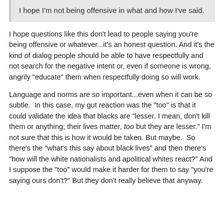I hope I'm not being offensive in what and how I've said.
I hope questions like this don't lead to people saying you're being offensive or whatever...it's an honest question. And it's the kind of dialog people should be able to have respectfully and not search for the negative intent or, even if someone is wrong, angrily "educate" them when respectfully doing so will work.
Language and norms are so important...even when it can be so subtle.  In this case, my gut reaction was the "too" is that it could validate the idea that blacks are "lesser. I mean, don't kill them or anything; their lives matter, too but they are lesser." I'm not sure that this is how it would be taken. But maybe.  So there's the "what's this say about black lives" and then there's "how will the white nationalists and apolitical whites react?" And I suppose the "too" would make it harder for them to say "you're saying ours don't?" But they don't really believe that anyway.